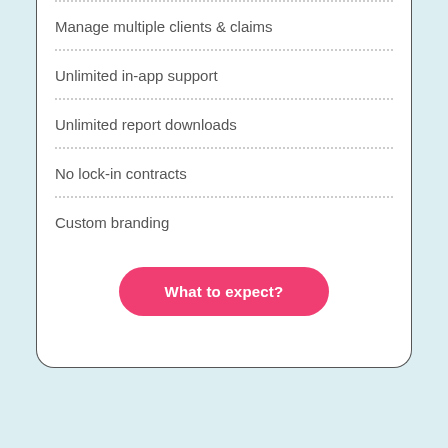Manage multiple clients & claims
Unlimited in-app support
Unlimited report downloads
No lock-in contracts
Custom branding
What to expect?